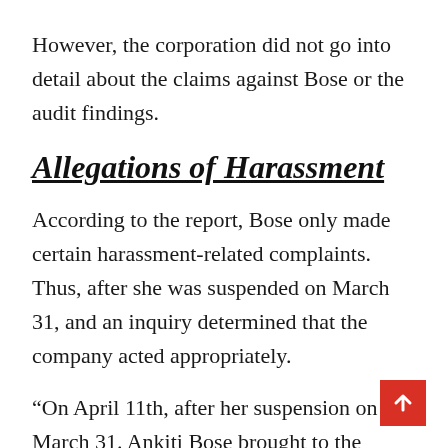However, the corporation did not go into detail about the claims against Bose or the audit findings.
Allegations of Harassment
According to the report, Bose only made certain harassment-related complaints. Thus, after she was suspended on March 31, and an inquiry determined that the company acted appropriately.
“On April 11th, after her suspension on March 31. Ankiti Bose brought to the board’s attention, for the first time, certain harassment-related issues pertaining to past time periods. Which did not